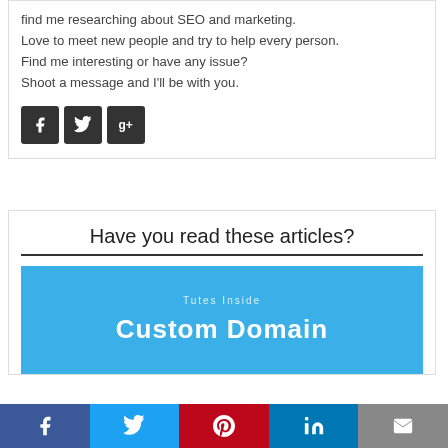find me researching about SEO and marketing. Love to meet new people and try to help every person. Find me interesting or have any issue? Shoot a message and I'll be with you.
[Figure (infographic): Three social media icon buttons: Facebook (f), Twitter (bird), Google+ (g+) in dark square buttons]
Have you read these articles?
[Figure (infographic): Blue banner image with text 'Tutes Inside' and 'Custom Domain']
[Figure (infographic): Bottom share bar with Facebook, Twitter, Pinterest, LinkedIn, and Email buttons]